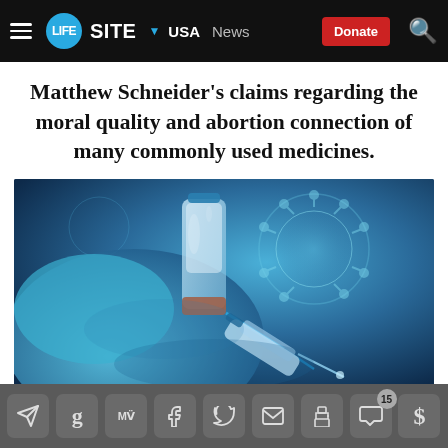LIFESITE · USA · News · Donate
Matthew Schneider's claims regarding the moral quality and abortion connection of many commonly used medicines.
[Figure (photo): Close-up photo of a gloved hand drawing liquid from a vial into a syringe, with blurred coronavirus particles in the background. Blue color tones throughout.]
Social sharing bar with icons: Telegram, Goodreads, MeWe, Facebook, Twitter, Email, Print, Comments (15), Donate